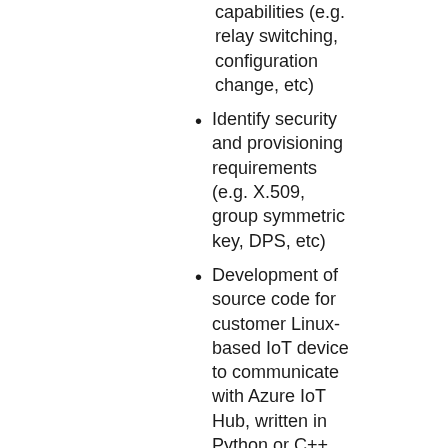capabilities (e.g. relay switching, configuration change, etc)
Identify security and provisioning requirements (e.g. X.509, group symmetric key, DPS, etc)
Development of source code for customer Linux-based IoT device to communicate with Azure IoT Hub, written in Python or C++
Development of Azure IoT backend services and associated website and